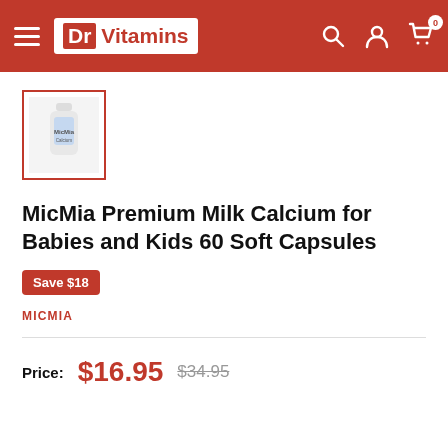Dr Vitamins
[Figure (photo): Small product thumbnail of MicMia Premium Milk Calcium bottle, shown inside a red-bordered square frame]
MicMia Premium Milk Calcium for Babies and Kids 60 Soft Capsules
Save $18
MICMIA
Price: $16.95  $34.95